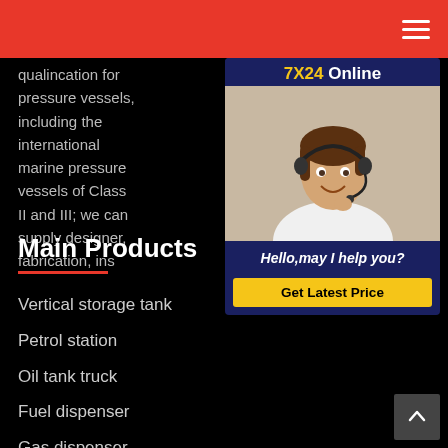Navigation bar with hamburger menu
qualincation for pressure vessels, including the international marine pressure vessels of Class II and III; we can supply designer, fabrication, ins...
[Figure (photo): 7X24 Online widget showing a customer service representative with headset, text 'Hello,may I help you?' and a 'Get Latest Price' button]
Main Products
Vertical storage tank
Petrol station
Oil tank truck
Fuel dispenser
Gas dispenser